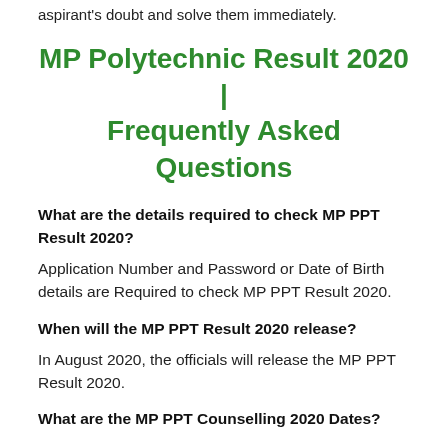aspirant's doubt and solve them immediately.
MP Polytechnic Result 2020 | Frequently Asked Questions
What are the details required to check MP PPT Result 2020?
Application Number and Password or Date of Birth details are Required to check MP PPT Result 2020.
When will the MP PPT Result 2020 release?
In August 2020, the officials will release the MP PPT Result 2020.
What are the MP PPT Counselling 2020 Dates?